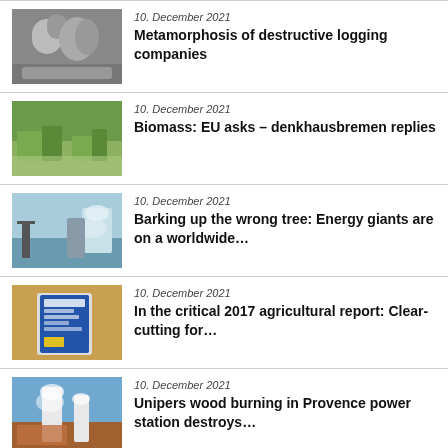10. December 2021 — Metamorphosis of destructive logging companies
10. December 2021 — Biomass: EU asks – denkhausbremen replies
10. December 2021 — Barking up the wrong tree: Energy giants are on a worldwide...
10. December 2021 — In the critical 2017 agricultural report: Clear-cutting for...
10. December 2021 — Unipers wood burning in Provence power station destroys...
10. December 2021 — "Paper Saving – Packaging in Focus" Conference